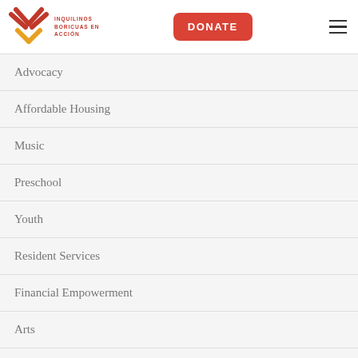[Figure (logo): Inquilinos Boricuas en Acción logo with red and gold X-shaped graphic and organization name in red text]
DONATE
Advocacy
Affordable Housing
Music
Preschool
Youth
Resident Services
Financial Empowerment
Arts
Tech Center